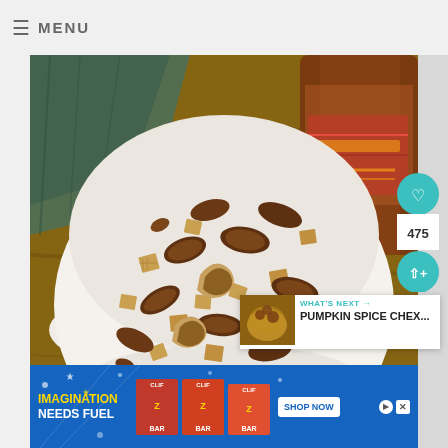≡ MENU
[Figure (photo): A white bowl filled with a snack mix of pecans, walnuts, and Chex cereal pieces on a wooden surface, with a bottle of maple syrup and green cloth in the background]
[Figure (infographic): Heart/like button (teal circle with heart icon), count badge showing 475, share button (teal circle with share icon)]
[Figure (infographic): WHAT'S NEXT box with thumbnail and text PUMPKIN SPICE CHEX...]
[Figure (photo): Bottom portion showing partial view with X/close overlay and partial 'w' letters watermark]
[Figure (infographic): Advertisement banner: blue background with IMAGINATION NEEDS FUEL text, ZBAR product images, and SHOP NOW button]